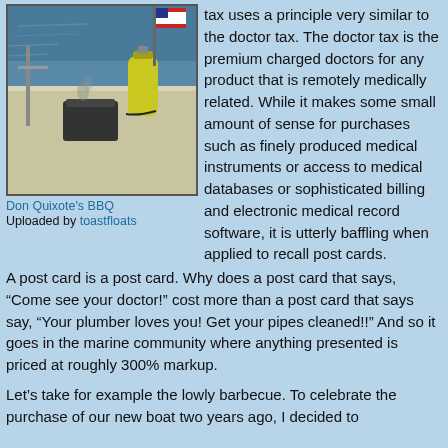[Figure (photo): Photo of a boat deck with a BBQ grill, propane tank, and water/ocean in background with an American flag]
Don Quixote's BBQ
Uploaded by toastfloats
tax uses a principle very similar to the doctor tax. The doctor tax is the premium charged doctors for any product that is remotely medically related. While it makes some small amount of sense for purchases such as finely produced medical instruments or access to medical databases or sophisticated billing and electronic medical record software, it is utterly baffling when applied to recall post cards. A post card is a post card. Why does a post card that says, “Come see your doctor!” cost more than a post card that says say, “Your plumber loves you! Get your pipes cleaned!!” And so it goes in the marine community where anything presented is priced at roughly 300% markup.
Let’s take for example the lowly barbecue. To celebrate the purchase of our new boat two years ago, I decided to